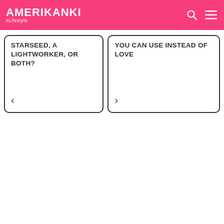AMERIKANKI #Lifestyle
STARSEED, A LIGHTWORKER, OR BOTH?
YOU CAN USE INSTEAD OF LOVE